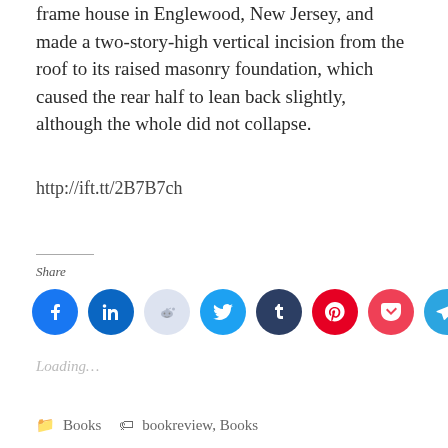frame house in Englewood, New Jersey, and made a two-story-high vertical incision from the roof to its raised masonry foundation, which caused the rear half to lean back slightly, although the whole did not collapse.
http://ift.tt/2B7B7ch
Share
[Figure (other): Row of social media share icon circles: Facebook (blue), LinkedIn (blue), Reddit (light blue/grey), Twitter (cyan), Tumblr (dark navy), Pinterest (red), Pocket (red/pink), Telegram (blue)]
Loading...
Books  bookreview, Books